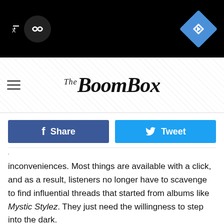[Figure (screenshot): Ad banner with black background showing circular icon and blue diamond arrow icon]
The BoomBox
f Share | Tweet (social sharing buttons)
inconveniences. Most things are available with a click, and as a result, listeners no longer have to scavenge to find influential threads that started from albums like Mystic Stylez. They just need the willingness to step into the dark.
Watch Three 6 Mafia's "Tear Da Club Up" Video
[Figure (screenshot): YouTube video embed showing Three 6 Mafia - Tear da Club Up '97 (Offi... with video thumbnail]